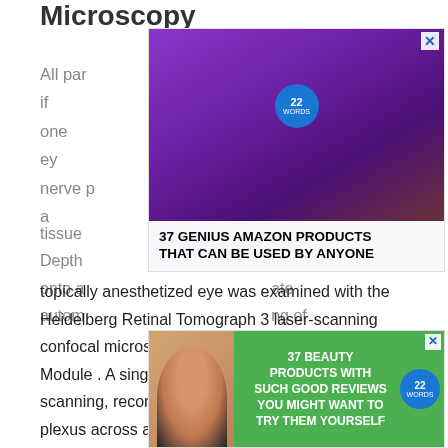Microscopy
All participants were examined bilaterally if one eye was excluded, generally if one eye was excluded, basal nerve plexus was imaged. Briefly, a topically anesthetized eye was examined with the Heidelberg Retinal Tomograph 3 laser-scanning confocal microscope with the Rostock Corneal Module . A single examiner performed all eye scanning, recording images of the subbasal nerve plexus across a wide area of the plexus using the built-in fixation light to access paracentral regions and continually adjusting the focus to the plexus depth. Mosaics were generated with an automated computer algorithm to select nerve plexus images from the recorded during tissue images. Depth mapped onto a ate automa ng of
[Figure (photo): Advertisement banner showing purple headphones with text '37 GENIUS AMAZON PRODUCTS THAT CAN BE USED BY ANYONE' with 22 Words badge]
[Figure (photo): Advertisement banner showing woman with face mask and text '37 BEAUTY PRODUCTS WITH SUCH GOOD REVIEWS YOU MIGHT WANT TO TRY THEM YOURSELF' with 22 Words badge]